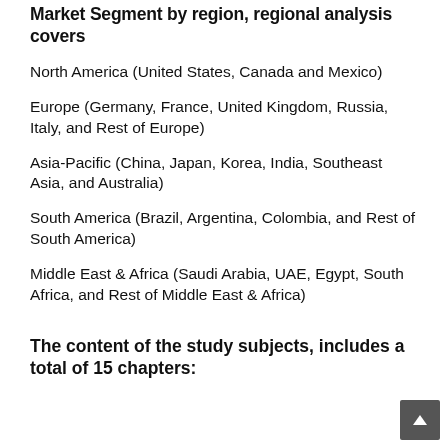Market Segment by region, regional analysis covers
North America (United States, Canada and Mexico)
Europe (Germany, France, United Kingdom, Russia, Italy, and Rest of Europe)
Asia-Pacific (China, Japan, Korea, India, Southeast Asia, and Australia)
South America (Brazil, Argentina, Colombia, and Rest of South America)
Middle East & Africa (Saudi Arabia, UAE, Egypt, South Africa, and Rest of Middle East & Africa)
The content of the study subjects, includes a total of 15 chapters: